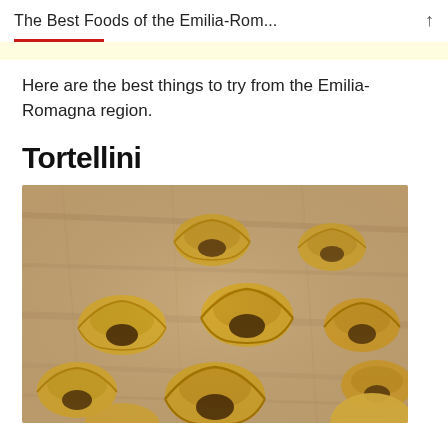The Best Foods of the Emilia-Rom...
Here are the best things to try from the Emilia-Romagna region.
Tortellini
[Figure (photo): Close-up photograph of multiple yellow uncooked tortellini pasta pieces scattered on a wooden surface. The pasta has the characteristic ring/hat shape with folded edges, showing golden-yellow pasta dough.]